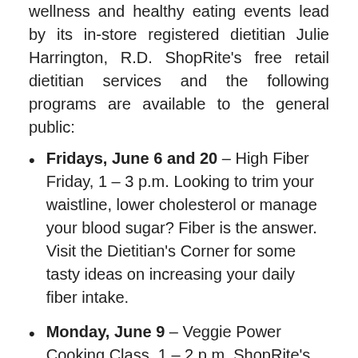wellness and healthy eating events lead by its in-store registered dietitian Julie Harrington, R.D. ShopRite's free retail dietitian services and the following programs are available to the general public:
Fridays, June 6 and 20 – High Fiber Friday, 1 – 3 p.m. Looking to trim your waistline, lower cholesterol or manage your blood sugar? Fiber is the answer. Visit the Dietitian's Corner for some tasty ideas on increasing your daily fiber intake.
Monday, June 9 – Veggie Power Cooking Class, 1 – 2 p.m. ShopRite's in-store dietitian will lead this cooking class aimed at helping attendees learn healthy recipes and nutrition tips as well as new cooking